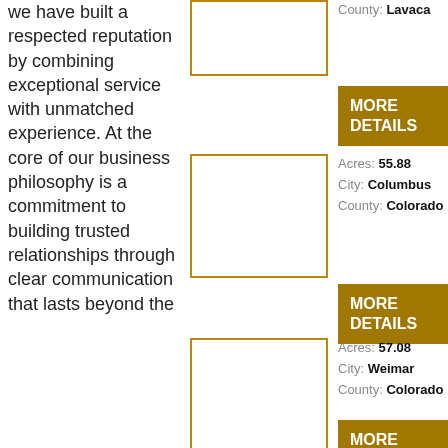we have built a respected reputation by combining exceptional service with unmatched experience. At the core of our business philosophy is a commitment to building trusted relationships through clear communication that lasts beyond the
[Figure (photo): Property listing image placeholder 1 (bordered box)]
County: Lavaca
MORE DETAILS
[Figure (photo): Property listing image placeholder 2 (bordered box)]
Acres: 55.88
City: Columbus
County: Colorado
MORE DETAILS
[Figure (photo): Property listing image placeholder 3 (bordered box)]
Acres: 57.08
City: Weimar
County: Colorado
MORE